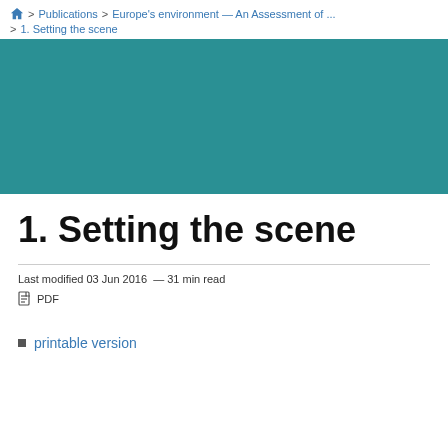🏠 > Publications > Europe's environment — An Assessment of … > 1. Setting the scene
[Figure (other): Teal/dark cyan decorative banner image]
1. Setting the scene
Last modified 03 Jun 2016  —  31 min read
PDF
printable version